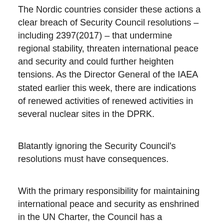The Nordic countries consider these actions a clear breach of Security Council resolutions – including 2397(2017) – that undermine regional stability, threaten international peace and security and could further heighten tensions. As the Director General of the IAEA stated earlier this week, there are indications of renewed activities of renewed activities in several nuclear sites in the DPRK.
Blatantly ignoring the Security Council's resolutions must have consequences.
With the primary responsibility for maintaining international peace and security as enshrined in the UN Charter, the Council has a responsibility to step up and act in a situation like the one before us. The power of the veto should not limit the Council in fulfilling its mandate